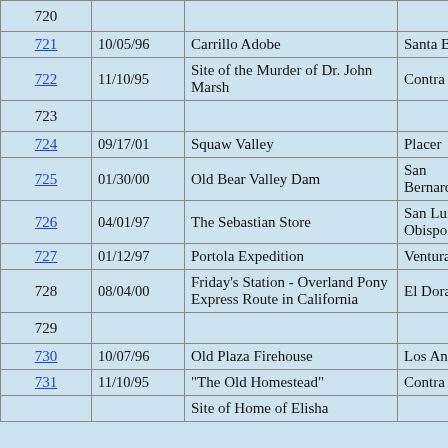| Number | Date | Name | County |
| --- | --- | --- | --- |
| 720 |  |  |  |
| 721 | 10/05/96 | Carrillo Adobe | Santa Barbara |
| 722 | 11/10/95 | Site of the Murder of Dr. John Marsh | Contra Costa |
| 723 |  |  |  |
| 724 | 09/17/01 | Squaw Valley | Placer |
| 725 | 01/30/00 | Old Bear Valley Dam | San Bernardino |
| 726 | 04/01/97 | The Sebastian Store | San Luis Obispo |
| 727 | 01/12/97 | Portola Expedition | Ventura |
| 728 | 08/04/00 | Friday's Station - Overland Pony Express Route in California | El Dorado |
| 729 |  |  |  |
| 730 | 10/07/96 | Old Plaza Firehouse | Los Angeles |
| 731 | 11/10/95 | "The Old Homestead" | Contra Costa |
| 732 |  | Site of Home of Elisha |  |